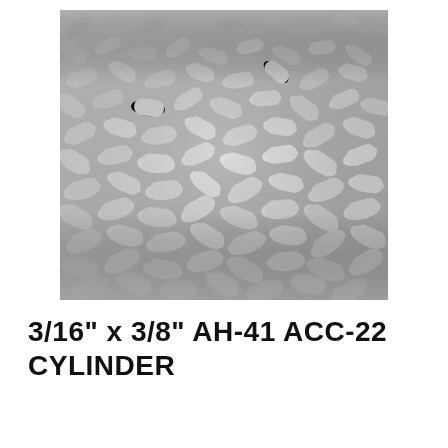[Figure (photo): Close-up photograph of small gray cylindrical pellets/extrudates (activated carbon or catalyst cylinders) piled together, showing their cylindrical shape from various angles. The pellets are light gray in color.]
3/16" x 3/8" AH-41 ACC-22 CYLINDER